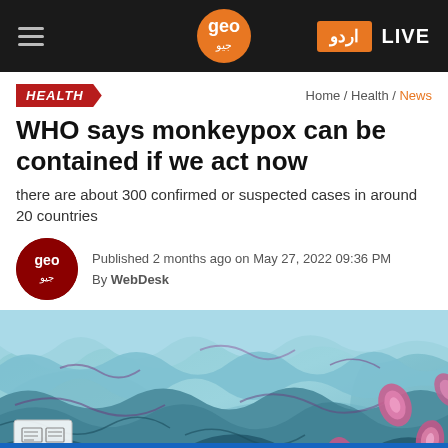Geo News navigation — hamburger, logo, Urdu button, LIVE
HEALTH
Home / Health / News
WHO says monkeypox can be contained if we act now
there are about 300 confirmed or suspected cases in around 20 countries
Published 2 months ago on May 27, 2022 09:36 PM
By WebDesk
[Figure (photo): Microscope image of monkeypox virus particles in biological tissue, stained blue and purple, showing oval pink viral particles embedded in tissue layers]